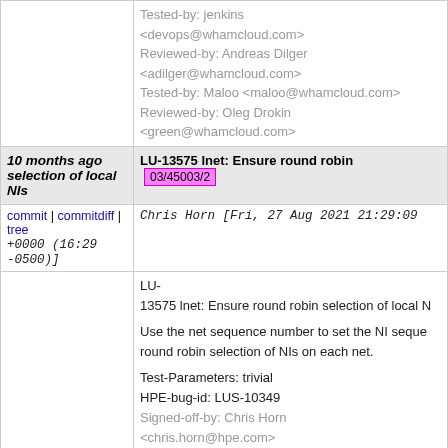Tested-by: jenkins <devops@whamcloud.com> Reviewed-by: Andreas Dilger <adilger@whamcloud.com> Tested-by: Maloo <maloo@whamcloud.com> Reviewed-by: Oleg Drokin <green@whamcloud.com>
10 months ago  LU-13575 lnet: Ensure round robin selection of local NIs  03/45003/2
commit | commitdiff | tree  Chris Horn [Fri, 27 Aug 2021 21:29:09 +0000 (16:29 -0500)]
LU-13575 lnet: Ensure round robin selection of local N

Use the net sequence number to set the NI seque round robin selection of NIs on each net.

Test-Parameters: trivial
HPE-bug-id: LUS-10349
Signed-off-by: Chris Horn <chris.horn@hpe.com>
Change-Id: I6ce0b088fcad6312186e6fbad4ab14283aee55
Reviewed-on: https://review.whamcloud.com/45003
Tested-by: jenkins <devops@whamcloud.com>